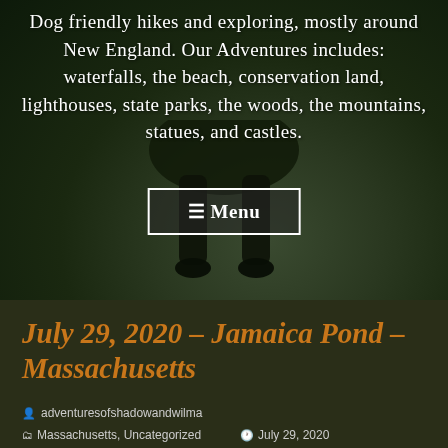[Figure (photo): Dark outdoor photo showing dog legs/lower body standing on grass, used as hero background image]
Dog friendly hikes and exploring, mostly around New England. Our Adventures includes: waterfalls, the beach, conservation land, lighthouses, state parks, the woods, the mountains, statues, and castles.
☰ Menu
July 29, 2020 - Jamaica Pond - Massachusetts
adventuresofshadowandwilma
Massachusetts, Uncategorized
July 29, 2020